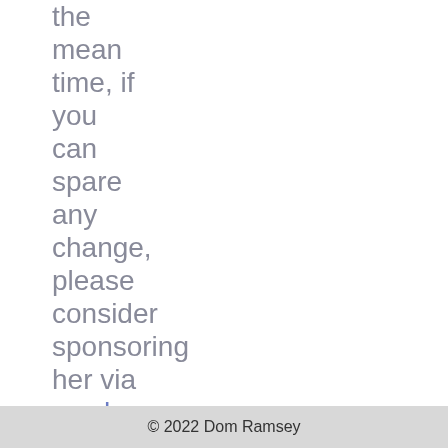the mean time,  if you can spare any change, please consider sponsoring her via her page
© 2022 Dom Ramsey